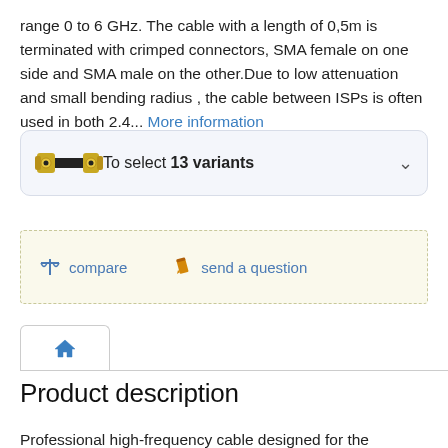range 0 to 6 GHz. The cable with a length of 0,5m is terminated with crimped connectors, SMA female on one side and SMA male on the other.Due to low attenuation and small bending radius , the cable between ISPs is often used in both 2.4... More information
[Figure (other): Product variant selector box with SMA connector image, text 'To select 13 variants' and a dropdown chevron]
[Figure (other): Action bar with compare icon and 'compare' link, pencil icon and 'send a question' link on a light yellow dashed border background]
[Figure (other): Navigation tab bar with a home icon tab selected]
Product description
Professional high-frequency cable designed for the frequency